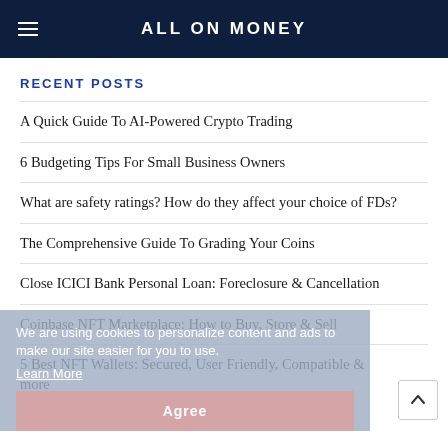ALL ON MONEY
RECENT POSTS
A Quick Guide To AI-Powered Crypto Trading
6 Budgeting Tips For Small Business Owners
What are safety ratings? How do they affect your choice of FDs?
The Comprehensive Guide To Grading Your Coins
Close ICICI Bank Personal Loan: Foreclosure & Cancellation
Coinbase NFT Marketplace: How to Buy, Store & Sell
5 Best NFT Wallets: Secured, User Friendly, Compatible & more
We are using cookies to personalize content and ads to make our site easier for you to use.
Learn More
Agree